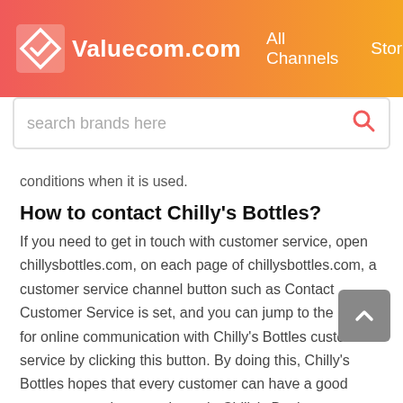Valuecom.com  All Channels  Stores
search brands here
conditions when it is used.
How to contact Chilly's Bottles?
If you need to get in touch with customer service, open chillysbottles.com, on each page of chillysbottles.com, a customer service channel button such as Contact Customer Service is set, and you can jump to the page for online communication with Chilly's Bottles customer service by clicking this button. By doing this, Chilly's Bottles hopes that every customer can have a good customer service experience in Chilly's Bottles.
Does Chilly's Bottles have sale section?